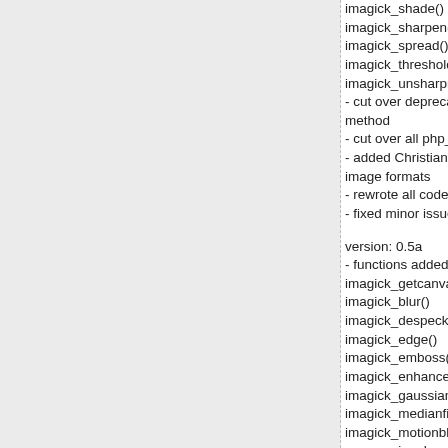imagick_shade()
imagick_sharpen()
imagick_spread()
imagick_threshold()
imagick_unsharpmask()
- cut over deprecation reporting to a method
- cut over all php_error calls to stand
- added Christian's code to info funct image formats
- rewrote all code to use proper para
- fixed minor issue with a number of e
version: 0.5a
- functions added:
imagick_getcanvas()
imagick_blur()
imagick_despeckle()
imagick_edge()
imagick_emboss()
imagick_enhance()
imagick_gaussianblur()
imagick_medianfilter()
imagick_motionblur()
- one major change - renamed every efforts with Christian Stocker who ha extension
- magick_getcanvas() allows you to c